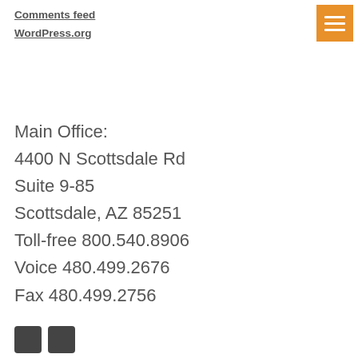Comments feed
WordPress.org
Main Office:
4400 N Scottsdale Rd
Suite 9-85
Scottsdale, AZ 85251
Toll-free 800.540.8906
Voice 480.499.2676
Fax 480.499.2756
[Figure (illustration): Two small dark social media icon buttons at bottom left]